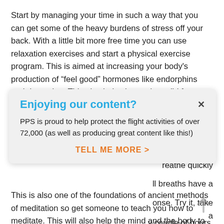Start by managing your time in such a way that you can get some of the heavy burdens of stress off your back. With a little bit more free time you can use relaxation exercises and start a physical exercise program. This is aimed at increasing your body's production of “feel good” hormones like endorphins and dopamine. This also helps in treating mild f[...] common with this [...] ere I talked about [...] acute stress, in [...] reathe quickly [...] ll breaths have a [...] onse. Try it, take a [...] y couple of hours.
[Figure (screenshot): Popup dialog box with header 'Enjoying our content?', close button (x), body text 'PPS is proud to help protect the flight activities of over 72,000 (as well as producing great content like this!)' and orange CTA 'TELL ME MORE >']
This is also one of the foundations of ancient methods of meditation so get someone to teach you how to meditate. This will also help the mind and the body to relax and focus.